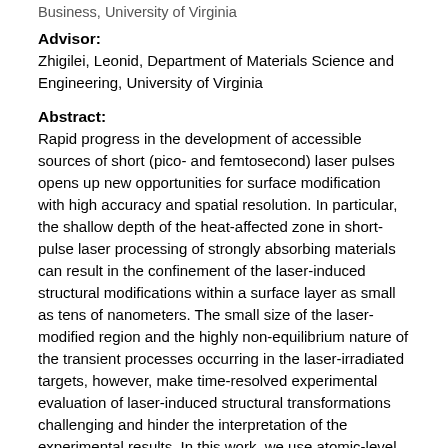Business, University of Virginia
Advisor:
Zhigilei, Leonid, Department of Materials Science and Engineering, University of Virginia
Abstract:
Rapid progress in the development of accessible sources of short (pico- and femtosecond) laser pulses opens up new opportunities for surface modification with high accuracy and spatial resolution. In particular, the shallow depth of the heat-affected zone in short-pulse laser processing of strongly absorbing materials can result in the confinement of the laser-induced structural modifications within a surface layer as small as tens of nanometers. The small size of the laser-modified region and the highly non-equilibrium nature of the transient processes occurring in the laser-irradiated targets, however, make time-resolved experimental evaluation of laser-induced structural transformations challenging and hinder the interpretation of the experimental results. In this work, we use atomic-level computer simulations to investigate the microscopic mechanisms of the ultrafast structural and phase transformations in the metal targets induced by the short